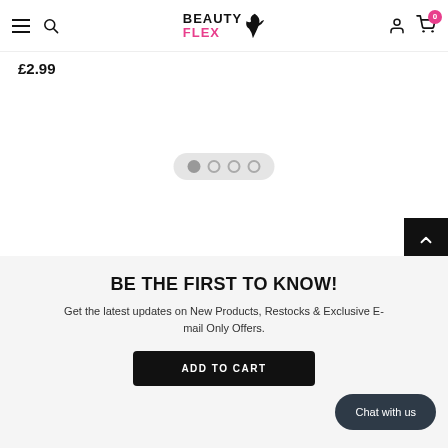BeautyFlex navigation header with hamburger menu, search icon, logo, user icon, and cart with badge 0
£2.99
[Figure (other): Carousel navigation dots: 4 dots, first filled/active, rest empty circles]
[Figure (other): Scroll to top button (black square with upward chevron arrow)]
BE THE FIRST TO KNOW!
Get the latest updates on New Products, Restocks & Exclusive E-mail Only Offers.
ADD TO CART
Chat with us